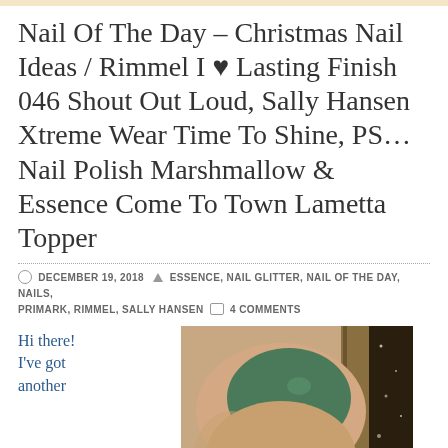Nail Of The Day – Christmas Nail Ideas / Rimmel I ♥ Lasting Finish 046 Shout Out Loud, Sally Hansen Xtreme Wear Time To Shine, PS… Nail Polish Marshmallow & Essence Come To Town Lametta Topper
DECEMBER 19, 2018   ESSENCE, NAIL GLITTER, NAIL OF THE DAY, NAILS, PRIMARK, RIMMEL, SALLY HANSEN   4 COMMENTS
Hi there! I've got another
[Figure (photo): Close-up photo of a hand showing a dark green nail polish on one finger and a white speckled nail polish on another finger, with a nail polish bottle in the background.]